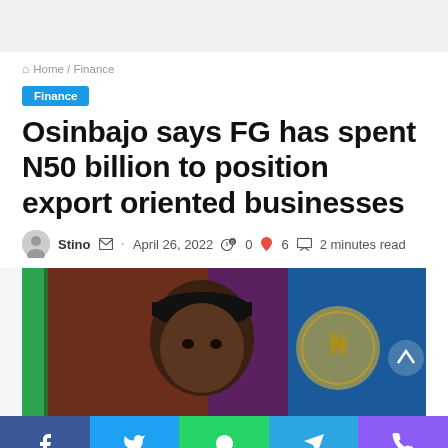Home / Finance
Finance
Osinbajo says FG has spent N50 billion to position export oriented businesses
Stino · April 26, 2022 · 0 · 6 · 2 minutes read
[Figure (photo): Photo of a man wearing a black cap, seated in front of a Nigerian flag and a blue background, with decorative elements visible.]
Social share bar: Facebook, Twitter, WhatsApp, Telegram, Phone